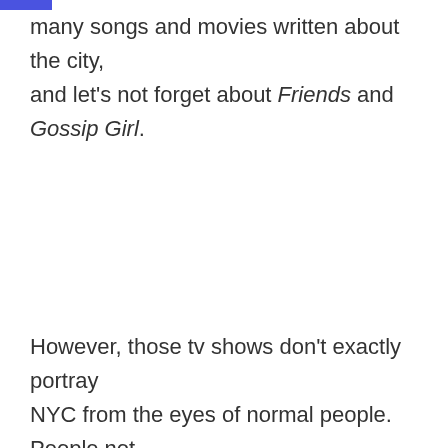many songs and movies written about the city, and let's not forget about Friends and Gossip Girl.
However, those tv shows don't exactly portray NYC from the eyes of normal people. People not from the city believe all the glamorous things